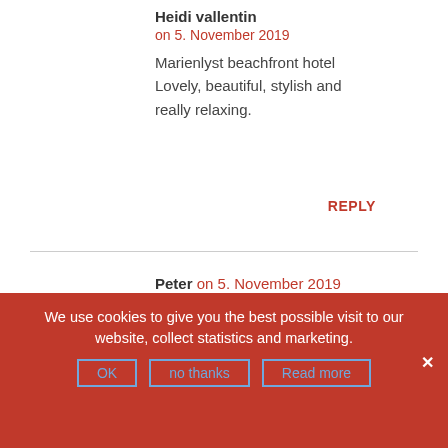Heidi vallentin
on 5. November 2019
Marienlyst beachfront hotel Lovely, beautiful, stylish and really relaxing.
REPLY
Peter on 5. November 2019
Enjoy Resort on Romo is definitely worth a visit!
REPLY
We use cookies to give you the best possible visit to our website, collect statistics and marketing.
OK
no thanks
Read more